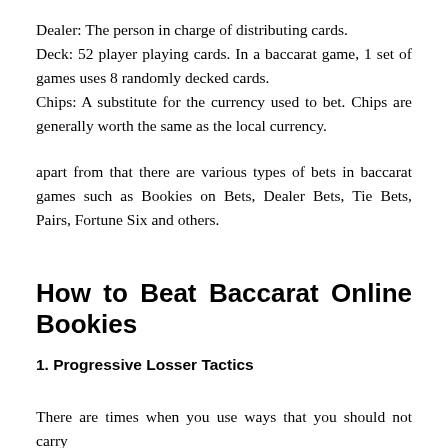Dealer: The person in charge of distributing cards.
Deck: 52 player playing cards. In a baccarat game, 1 set of games uses 8 randomly decked cards.
Chips: A substitute for the currency used to bet. Chips are generally worth the same as the local currency.
apart from that there are various types of bets in baccarat games such as Bookies on Bets, Dealer Bets, Tie Bets, Pairs, Fortune Six and others.
How to Beat Baccarat Online Bookies
1. Progressive Losser Tactics
There are times when you use ways that you should not carry when playing Gambling Online Baccarat. Namely